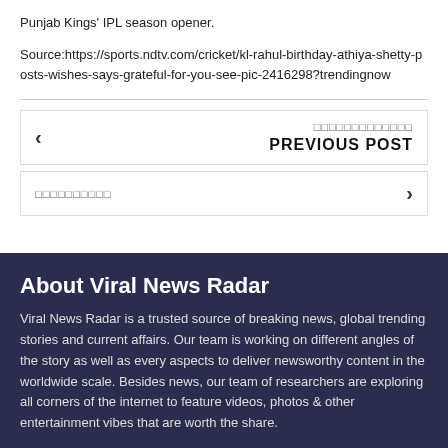Punjab Kings' IPL season opener.
Source:https://sports.ndtv.com/cricket/kl-rahul-birthday-athiya-shetty-posts-wishes-says-grateful-for-you-see-pic-2416298?trendingnow
◻◻◻◻◻◻◻◻◻◻◻◻◻
PREVIOUS POST
◻◻◻◻◻◻◻◻◻◻
About Viral News Radar
Viral News Radar is a trusted source of breaking news, global trending stories and current affairs. Our team is working on different angles of the story as well as every aspects to deliver newsworthy content in the worldwide scale. Besides news, our team of researchers are exploring all corners of the internet to feature videos, photos & other entertainment vibes that are worth the share.